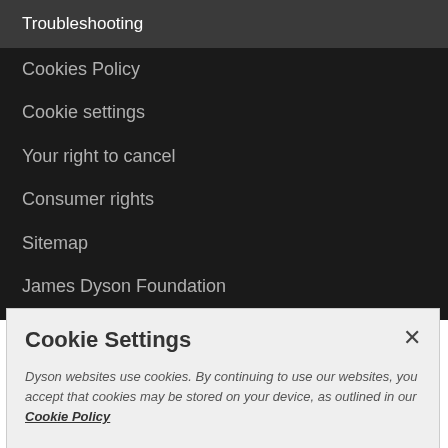Troubleshooting
Cookies Policy
Cookie settings
Your right to cancel
Consumer rights
Sitemap
James Dyson Foundation
Accessibility Statement
Klarna FAQ
Cookie Settings
Dyson websites use cookies. By continuing to use our websites, you accept that cookies may be stored on your device, as outlined in our Cookie Policy